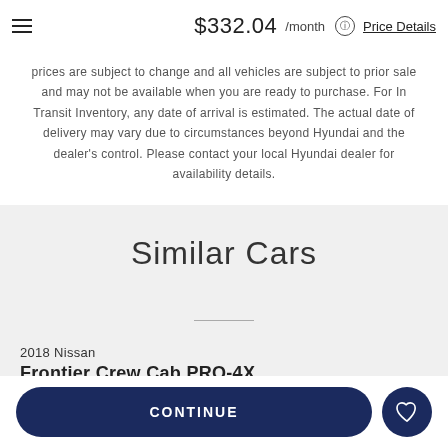$332.04 /month Price Details
prices are subject to change and all vehicles are subject to prior sale and may not be available when you are ready to purchase. For In Transit Inventory, any date of arrival is estimated. The actual date of delivery may vary due to circumstances beyond Hyundai and the dealer's control. Please contact your local Hyundai dealer for availability details.
Similar Cars
2018 Nissan
Frontier Crew Cab PRO-4X
CONTINUE